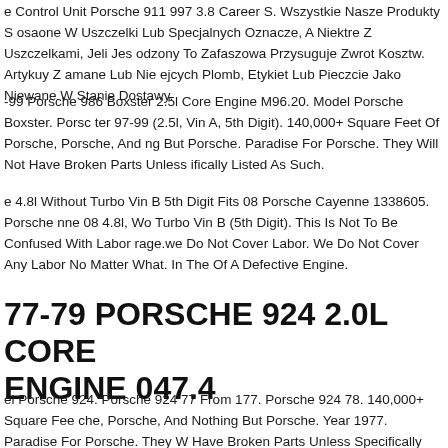e Control Unit Porsche 911 997 3.8 Career S. Wszystkie Nasze Produkty S osaone W Uszczelki Lub Specjalnych Oznacze, A Niektre Z Uszczelkami, Jeli Jes odzony To Zafaszowa Przysuguje Zwrot Kosztw. Artykuy Z amane Lub Nie ejcych Plomb, Etykiet Lub Pieczcie Jako Niewane W Stanie Dostawy.
-99 Porsche 986 Boxster 2.5l Core Engine M96.20. Model Porsche Boxster. Porsc ter 97-99 (2.5l, Vin A, 5th Digit). 140,000+ Square Feet Of Porsche, Porsche, And ng But Porsche. Paradise For Porsche. They Will Not Have Broken Parts Unless ifically Listed As Such.
e 4.8l Without Turbo Vin B 5th Digit Fits 08 Porsche Cayenne 1338605. Porsche nne 08 4.8l, Wo Turbo Vin B (5th Digit). This Is Not To Be Confused With Labor rage.we Do Not Cover Labor. We Do Not Cover Any Labor No Matter What. In The Of A Defective Engine.
77-79 PORSCHE 924 2.0L CORE ENGINE 047.4
el Porsche 924. Porsche 924 77 From 177. Porsche 924 78. 140,000+ Square Fee che, Porsche, And Nothing But Porsche. Year 1977. Paradise For Porsche. They W Have Broken Parts Unless Specifically Listed As Such.